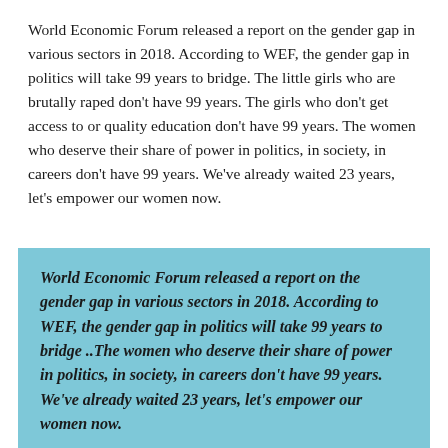World Economic Forum released a report on the gender gap in various sectors in 2018. According to WEF, the gender gap in politics will take 99 years to bridge. The little girls who are brutally raped don’t have 99 years. The girls who don’t get access to or quality education don’t have 99 years. The women who deserve their share of power in politics, in society, in careers don’t have 99 years. We’ve already waited 23 years, let’s empower our women now.
World Economic Forum released a report on the gender gap in various sectors in 2018. According to WEF, the gender gap in politics will take 99 years to bridge ..The women who deserve their share of power in politics, in society, in careers don’t have 99 years. We’ve already waited 23 years, let’s empower our women now.